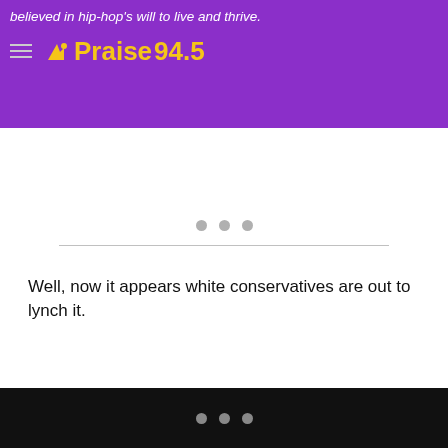believed in hip-hop's will to live and thrive.
[Figure (logo): Praise 94.5 radio station logo with hamburger menu icon]
[Figure (other): Loading dots and horizontal divider line in content area]
Well, now it appears white conservatives are out to lynch it.
• • •